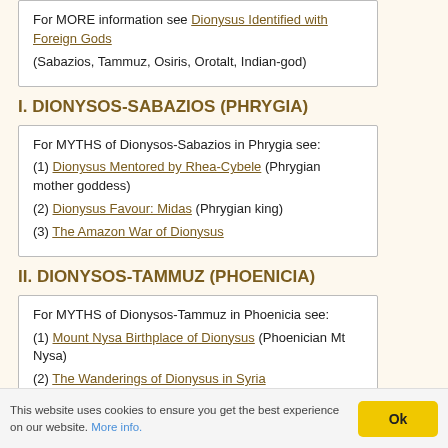For MORE information see Dionysus Identified with Foreign Gods (Sabazios, Tammuz, Osiris, Orotalt, Indian-god)
I. DIONYSOS-SABAZIOS (PHRYGIA)
For MYTHS of Dionysos-Sabazios in Phrygia see:
(1) Dionysus Mentored by Rhea-Cybele (Phrygian mother goddess)
(2) Dionysus Favour: Midas (Phrygian king)
(3) The Amazon War of Dionysus
II. DIONYSOS-TAMMUZ (PHOENICIA)
For MYTHS of Dionysos-Tammuz in Phoenicia see:
(1) Mount Nysa Birthplace of Dionysus (Phoenician Mt Nysa)
(2) The Wanderings of Dionysus in Syria
(3) Dionysus Loves: Beroe (Tammuz and Astarte)
This website uses cookies to ensure you get the best experience on our website. More info.